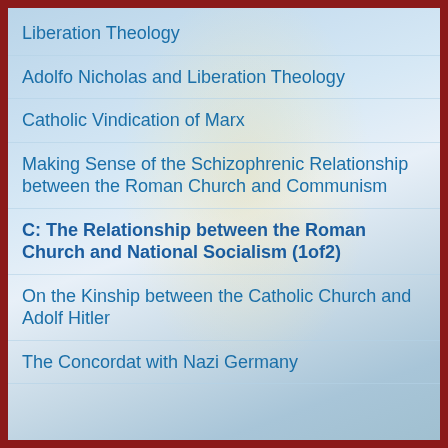Liberation Theology
Adolfo Nicholas and Liberation Theology
Catholic Vindication of Marx
Making Sense of the Schizophrenic Relationship between the Roman Church and Communism
C: The Relationship between the Roman Church and National Socialism (1of2)
On the Kinship between the Catholic Church and Adolf Hitler
The Concordat with Nazi Germany